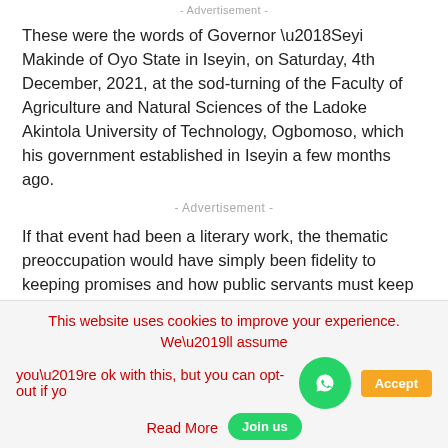- Advertisement -
These were the words of Governor ‘Seyi Makinde of Oyo State in Iseyin, on Saturday, 4th December, 2021, at the sod-turning of the Faculty of Agriculture and Natural Sciences of the Ladoke Akintola University of Technology, Ogbomoso, which his government established in Iseyin a few months ago.
- Advertisement -
If that event had been a literary work, the thematic preoccupation would have simply been fidelity to keeping promises and how public servants must keep promises made in the heat of campaign. For, on that day, Governor ‘Seyi Makinde, who has demonstrated over time the whole essence of one’s word being his bond, ticked off another box as a ‘talk and do’ leader.
This website uses cookies to improve your experience. We’ll assume you’re ok with this, but you can opt-out if yo… Read More